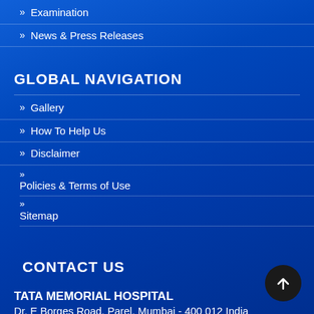» Examination
» News & Press Releases
GLOBAL NAVIGATION
» Gallery
» How To Help Us
» Disclaimer
» Policies & Terms of Use
» Sitemap
CONTACT US
TATA MEMORIAL HOSPITAL
Dr. E Borges Road, Parel, Mumbai - 400 012 India
Phone: +91-22-24177000, 24177300, 24161413